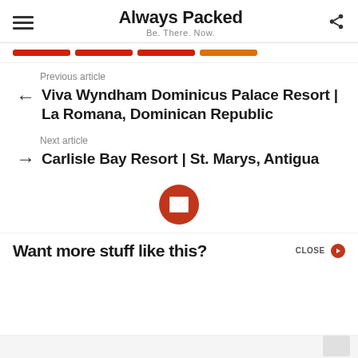Always Packed — Be. There. Now.
Previous article
Viva Wyndham Dominicus Palace Resort | La Romana, Dominican Republic
Next article
Carlisle Bay Resort | St. Marys, Antigua
[Figure (illustration): Orange email envelope icon inside a red-orange circle]
Want more stuff like this?  CLOSE →